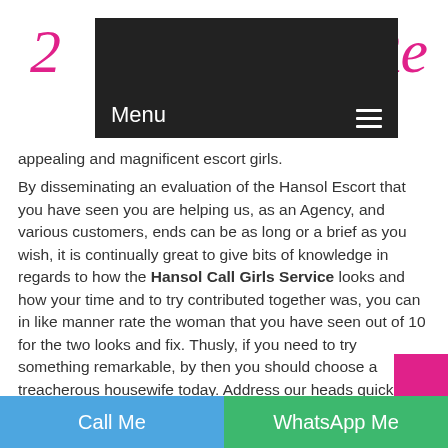[Figure (logo): Website logo with pink cursive letters on white background, partially obscured by dark navigation bar]
Menu ☰
appealing and magnificent escort girls.
By disseminating an evaluation of the Hansol Escort that you have seen you are helping us, as an Agency, and various customers, ends can be as long or a brief as you wish, it is continually great to give bits of knowledge in regards to how the Hansol Call Girls Service looks and how your time and to try contributed together was, you can in like manner rate the woman that you have seen out of 10 for the two looks and fix. Thusly, if you need to try something remarkable, by then you should choose a treacherous housewife today. Address our heads quickly and let us grasp what else we can achieve for
Call Me   WhatsApp Me